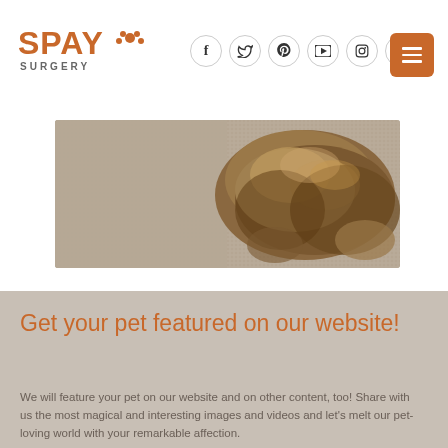SPAY SURGERY — website header with social icons and menu button
[Figure (photo): A small fluffy brown dog lying on a beige/tan carpet, viewed from above, partial view]
Get your pet featured on our website!
We will feature your pet on our website and on other content, too! Share with us the most magical and interesting images and videos and let's melt our pet-loving world with your remarkable affection.